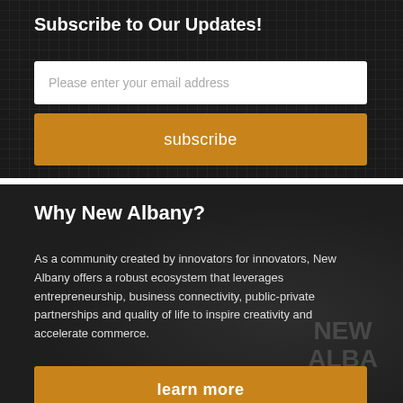Subscribe to Our Updates!
Please enter your email address
subscribe
Why New Albany?
As a community created by innovators for innovators, New Albany offers a robust ecosystem that leverages entrepreneurship, business connectivity, public-private partnerships and quality of life to inspire creativity and accelerate commerce.
learn more